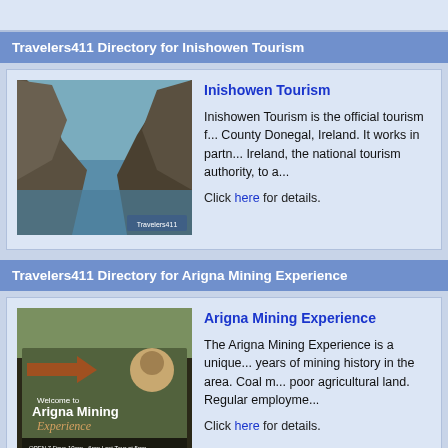Travelers411 Directory for Inishowen Tourism
Inishowen Tourism
Inishowen Tourism is the official tourism f... County Donegal, Ireland. It works in partn... Ireland, the national tourism authority, to a...
Click here for details.
Travelers411 Directory for Arigna Mining Experience
Arigna Mining Experience
The Arigna Mining Experience is a unique... years of mining history in the area. Coal m... poor agricultural land. Regular employme...
Click here for details.